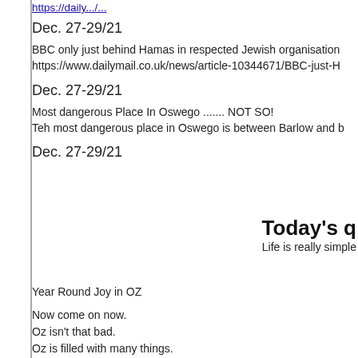https://daily.../...
Dec. 27-29/21
BBC only just behind Hamas in respected Jewish organisation
https://www.dailymail.co.uk/news/article-10344671/BBC-just-H
Dec. 27-29/21
Most dangerous Place In Oswego ....... NOT SO!
Teh most dangerous place in Oswego is between Barlow and b
Dec. 27-29/21
Today's q
Life is really simple
Year Round Joy in OZ
Now come on now.
Oz isn't that bad.
Oz is filled with many things.